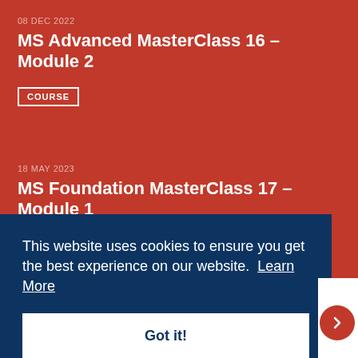08 DEC 2022
MS Advanced MasterClass 16 – Module 2
COURSE
18 MAY 2023
MS Foundation MasterClass 17 – Module 1
COURSE
This website uses cookies to ensure you get the best experience on our website. Learn More
Got it!